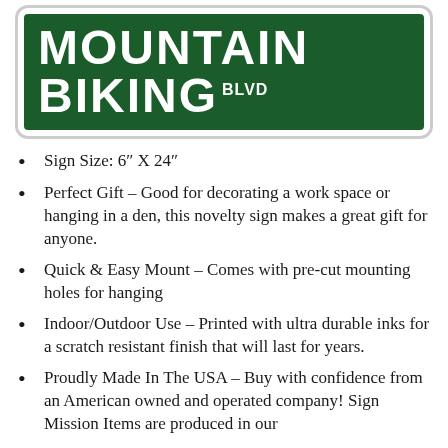[Figure (photo): Green street sign reading MOUNTAIN BIKING BLVD with white text on dark green background with white border]
Sign Size: 6″ X 24″
Perfect Gift – Good for decorating a work space or hanging in a den, this novelty sign makes a great gift for anyone.
Quick & Easy Mount – Comes with pre-cut mounting holes for hanging
Indoor/Outdoor Use – Printed with ultra durable inks for a scratch resistant finish that will last for years.
Proudly Made In The USA – Buy with confidence from an American owned and operated company! Sign Mission Items are produced in our